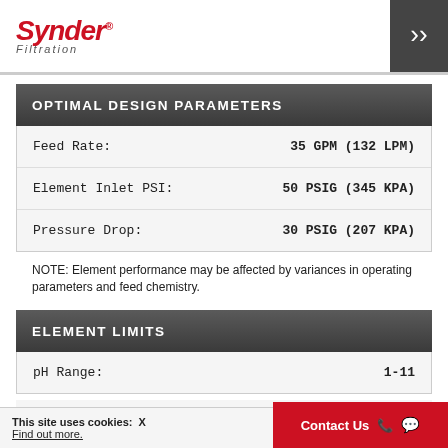Synder Filtration
OPTIMAL DESIGN PARAMETERS
| Parameter | Value |
| --- | --- |
| Feed Rate: | 35 GPM (132 LPM) |
| Element Inlet PSI: | 50 PSIG (345 KPA) |
| Pressure Drop: | 30 PSIG (207 KPA) |
NOTE: Element performance may be affected by variances in operating parameters and feed chemistry.
ELEMENT LIMITS
| Parameter | Value |
| --- | --- |
| pH Range: | 1-11 |
|  | 30 / 40 GPM |
This site uses cookies: X Find out more.